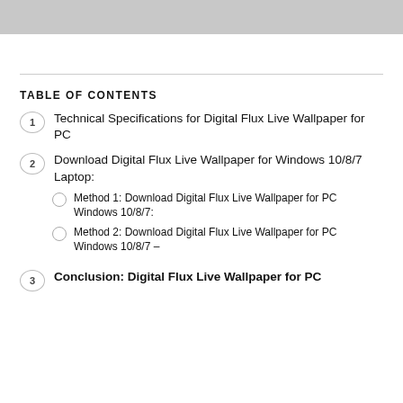[Figure (other): Gray banner bar at the top of the page]
TABLE OF CONTENTS
1  Technical Specifications for Digital Flux Live Wallpaper for PC
2  Download Digital Flux Live Wallpaper for Windows 10/8/7 Laptop:
Method 1: Download Digital Flux Live Wallpaper for PC Windows 10/8/7:
Method 2: Download Digital Flux Live Wallpaper for PC Windows 10/8/7 –
3  Conclusion: Digital Flux Live Wallpaper for PC